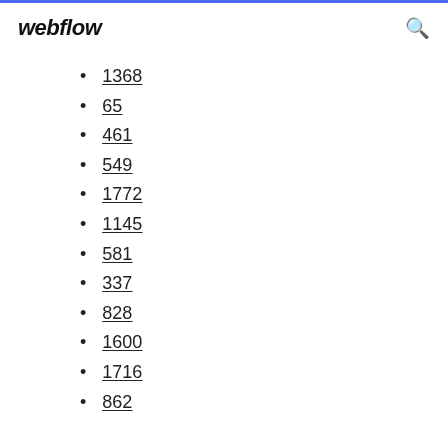webflow
1368
65
461
549
1772
1145
581
337
828
1600
1716
862